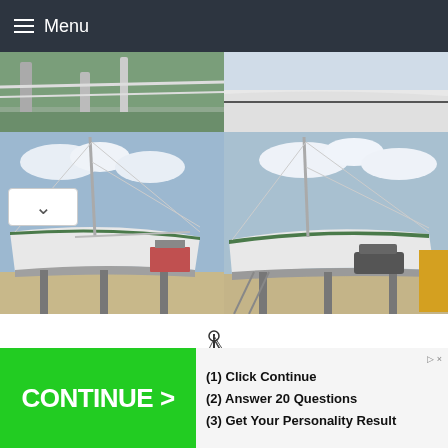Menu
[Figure (photo): Top-left partial photo showing boat rigging/railing detail]
[Figure (photo): Top-right partial photo showing sailboat hull close-up]
[Figure (photo): Middle-left photo of white sailboat on stands in boatyard, port side view]
[Figure (photo): Middle-right photo of white sailboat on stands in boatyard, starboard bow view]
[Figure (illustration): Line drawing diagram of a sailboat showing sail plan and rigging]
[Figure (other): Advertisement banner: green CONTINUE > button with text (1) Click Continue (2) Answer 20 Questions (3) Get Your Personality Result]